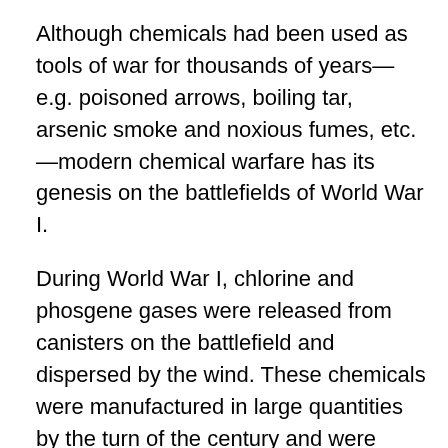Although chemicals had been used as tools of war for thousands of years—e.g. poisoned arrows, boiling tar, arsenic smoke and noxious fumes, etc.—modern chemical warfare has its genesis on the battlefields of World War I.
During World War I, chlorine and phosgene gases were released from canisters on the battlefield and dispersed by the wind. These chemicals were manufactured in large quantities by the turn of the century and were deployed as weapons during the protracted period of trench warfare. The first large-scale attack with chlorine gas occurred 22 April 1915 at Ieper in Belgium. The use of several different types of chemical weapons, including mustard gas (yperite), resulted in 90,000 deaths and over one million casualties during the war. Those injured in chemical warfare suffered from the effects for the rest of their lives;